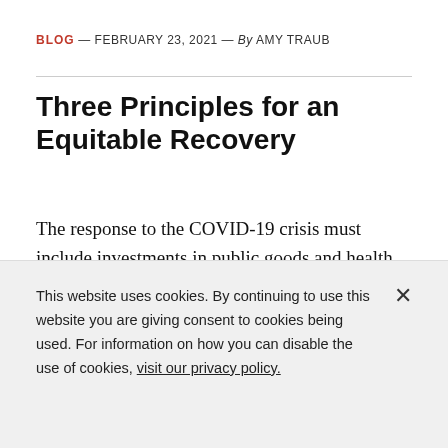BLOG — FEBRUARY 23, 2021 — By AMY TRAUB
Three Principles for an Equitable Recovery
The response to the COVID-19 crisis must include investments in public goods and health infrastructure, breaking up concentrated economic power, and equitable access for Black and brown communities
This website uses cookies. By continuing to use this website you are giving consent to cookies being used. For information on how you can disable the use of cookies, visit our privacy policy.